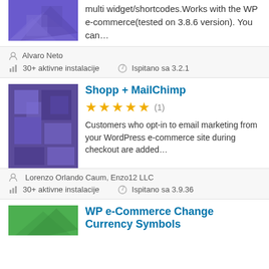multi widget/shortcodes.Works with the WP e-commerce(tested on 3.8.6 version). You can…
Alvaro Neto
30+ aktivne instalacije
Ispitano sa 3.2.1
Shopp + MailChimp
(1) stars rating
Customers who opt-in to email marketing from your WordPress e-commerce site during checkout are added…
Lorenzo Orlando Caum, Enzo12 LLC
30+ aktivne instalacije
Ispitano sa 3.9.36
WP e-Commerce Change Currency Symbols